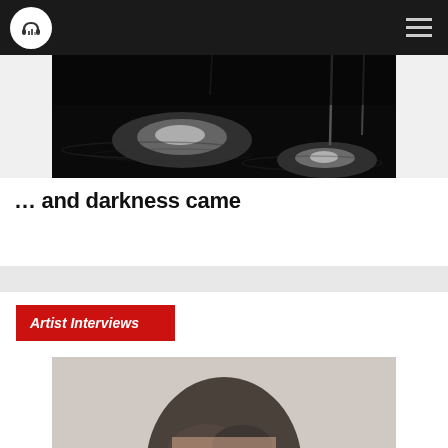Navigation bar with headphones logo and hamburger menu
[Figure (photo): Black and white dramatic photo of a stage or water scene with spotlight reflections]
… and darkness came
Artist Interviews
[Figure (photo): Portrait photo of a person with dark hair against a light background, top of head visible]